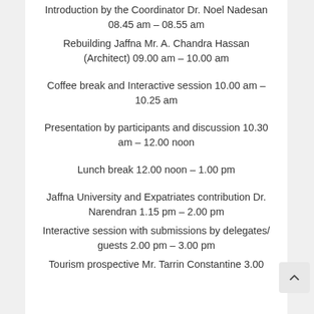Introduction by the Coordinator  Dr. Noel Nadesan  08.45 am – 08.55 am
Rebuilding Jaffna Mr. A. Chandra Hassan (Architect)  09.00 am – 10.00 am
Coffee break and Interactive session 10.00 am – 10.25 am
Presentation by participants and discussion  10.30 am – 12.00 noon
Lunch break 12.00 noon – 1.00 pm
Jaffna University and Expatriates contribution   Dr. Narendran  1.15 pm – 2.00 pm
Interactive session with submissions by delegates/guests   2.00 pm – 3.00 pm
Tourism prospective Mr. Tarrin Constantine   3.00